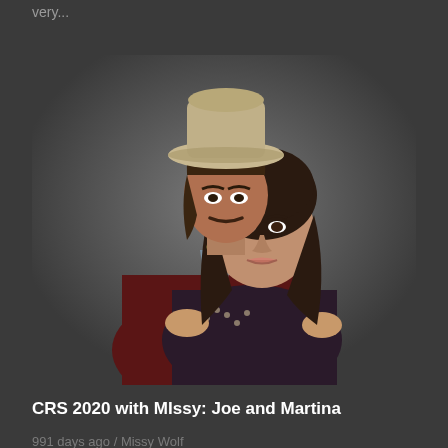very...
[Figure (photo): A man wearing a beige cowboy hat and dark maroon leather jacket stands behind a woman with long dark hair wearing a dark studded top. He has his arms around her. Both are posed against a dark grey studio background.]
CRS 2020 with MIssy: Joe and Martina
991 days ago / Missy Wolf